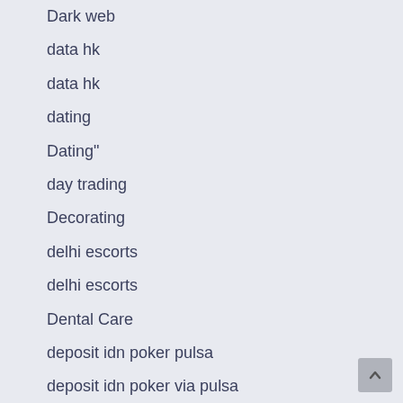Dark web
data hk
data hk
dating
Dating"
day trading
Decorating
delhi escorts
delhi escorts
Dental Care
deposit idn poker pulsa
deposit idn poker via pulsa
deposit idn poker via pulsa
deposit joker123
deposit joker123